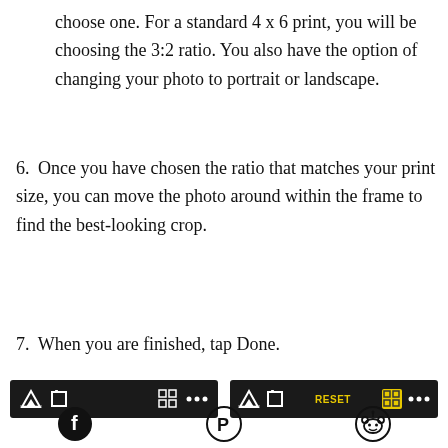choose one. For a standard 4 x 6 print, you will be choosing the 3:2 ratio. You also have the option of changing your photo to portrait or landscape.
6. Once you have chosen the ratio that matches your print size, you can move the photo around within the frame to find the best-looking crop.
7. When you are finished, tap Done.
[Figure (screenshot): Two side-by-side screenshots of a photo editing toolbar on a dark background. The left toolbar shows icons including a mountain/triangle icon, a square icon, a grid icon, and a dots icon. The right toolbar shows the same icons but with a yellow RESET label and a highlighted yellow grid icon.]